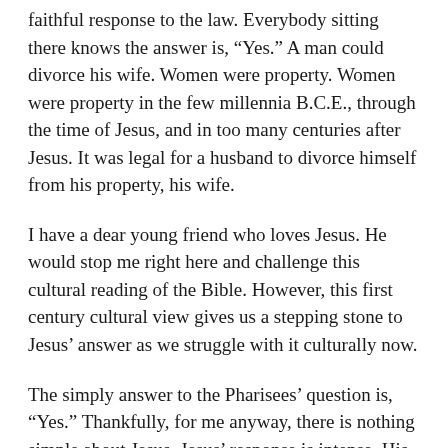faithful response to the law.  Everybody sitting there knows the answer is, “Yes.”  A man could divorce his wife.  Women were property.  Women were property in the few millennia B.C.E., through the time of Jesus, and in too many centuries after Jesus.  It was legal for a husband to divorce himself from his property, his wife.
I have a dear young friend who loves Jesus.  He would stop me right here and challenge this cultural reading of the Bible.  However, this first century cultural view gives us a stepping stone to Jesus’ answer as we struggle with it culturally now.
The simply answer to the Pharisees’ question is, “Yes.”  Thankfully, for me anyway, there is nothing simple about Jesus.  Jesus’ response is intense.  His intensity fits with other stories about Jesus when people are left vulnerable by other people.  First century women had few options.  Extreme poverty was the likeliest outcome.  When confronted by questions like these, Jesus regularly ups the intensity and